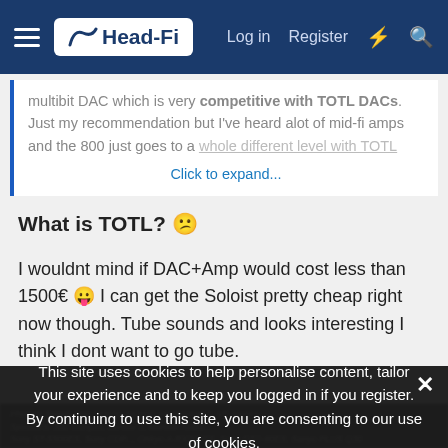Head-Fi — Log in | Register
multibit DAC which is very competitive with TOTL DACs. Just my recommendation but I've heard alot of mid-fi amps and the 800 just goes to a whole different level with TOTL
Click to expand...
What is TOTL? 😕
I wouldnt mind if DAC+Amp would cost less than 1500€ 😛 I can get the Soloist pretty cheap right now though. Tube sounds and looks interesting I think I dont want to go tube.
This site uses cookies to help personalise content, tailor your experience and to keep you logged in if you register. By continuing to use this site, you are consenting to our use of cookies.